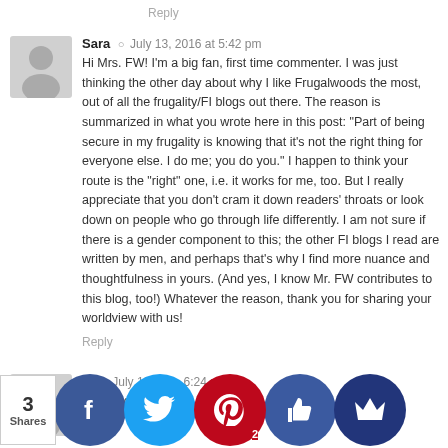Reply
Sara · July 13, 2016 at 5:42 pm
Hi Mrs. FW! I'm a big fan, first time commenter. I was just thinking the other day about why I like Frugalwoods the most, out of all the frugality/FI blogs out there. The reason is summarized in what you wrote here in this post: "Part of being secure in my frugality is knowing that it's not the right thing for everyone else. I do me; you do you." I happen to think your route is the "right" one, i.e. it works for me, too. But I really appreciate that you don't cram it down readers' throats or look down on people who go through life differently. I am not sure if there is a gender component to this; the other FI blogs I read are written by men, and perhaps that's why I find more nuance and thoughtfulness in yours. (And yes, I know Mr. FW contributes to this blog, too!) Whatever the reason, thank you for sharing your worldview with us!
Reply
Su... · July 13, ... · 6:24 pm
J...ther d... to ha... blood... ne and share... with the receptionist... writing. S... mentioned